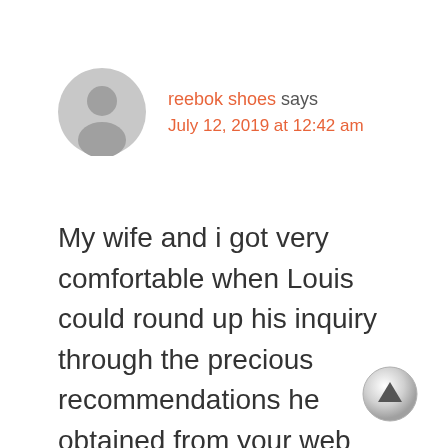[Figure (illustration): Gray user avatar icon (circle with silhouette)]
reebok shoes says
July 12, 2019 at 12:42 am
My wife and i got very comfortable when Louis could round up his inquiry through the precious recommendations he obtained from your web page. It’s not at all simplistic to simply find yourself giving away secrets and techniques that other people may have been selling. And
[Figure (illustration): Gray scroll-to-top button with upward triangle arrow]